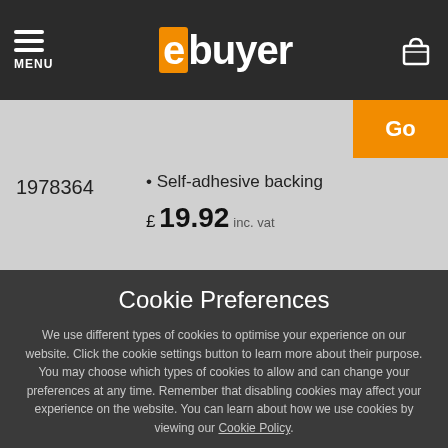MENU — ebuyer
Go
1978364
Self-adhesive backing
£ 19.92 inc. vat
Cookie Preferences
We use different types of cookies to optimise your experience on our website. Click the cookie settings button to learn more about their purpose. You may choose which types of cookies to allow and can change your preferences at any time. Remember that disabling cookies may affect your experience on the website. You can learn about how we use cookies by viewing our Cookie Policy.
Amend Your Preference
✓ Accept All Cookies